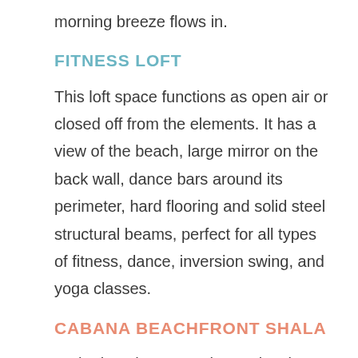morning breeze flows in.
FITNESS LOFT
This loft space functions as open air or closed off from the elements. It has a view of the beach, large mirror on the back wall, dance bars around its perimeter, hard flooring and solid steel structural beams, perfect for all types of fitness, dance, inversion swing, and yoga classes.
CABANA BEACHFRONT SHALA
At the beach, next to the pool, exists an extra space for either small sized yoga classes in the